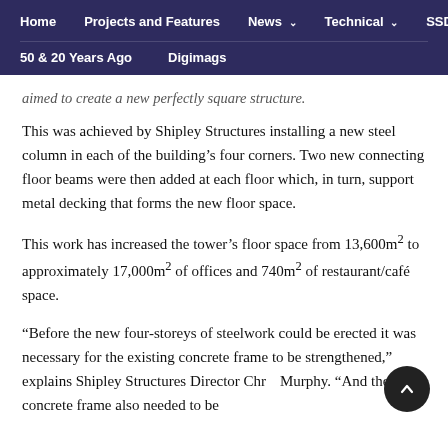Home | Projects and Features | News | Technical | SSDA | 50 & 20 Years Ago | Digimags
aimed to create a new perfectly square structure.
This was achieved by Shipley Structures installing a new steel column in each of the building's four corners. Two new connecting floor beams were then added at each floor which, in turn, support metal decking that forms the new floor space.
This work has increased the tower's floor space from 13,600m² to approximately 17,000m² of offices and 740m² of restaurant/café space.
“Before the new four-storeys of steelwork could be erected it was necessary for the existing concrete frame to be strengthened,” explains Shipley Structures Director Chr[is] Murphy. “And the concrete frame also needed to be